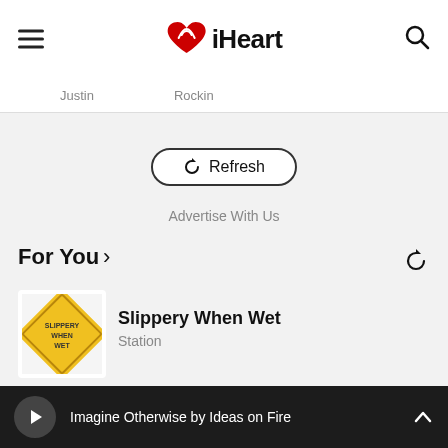[Figure (logo): iHeart logo with heart icon and hamburger menu and search icon in navigation bar]
Justin   Rockin
Refresh
Advertise With Us
For You >
[Figure (illustration): Slippery When Wet station thumbnail - yellow diamond road sign]
Slippery When Wet
Station
[Figure (illustration): Hit Nation station thumbnail - blue logo]
Hit Nation
Imagine Otherwise by Ideas on Fire